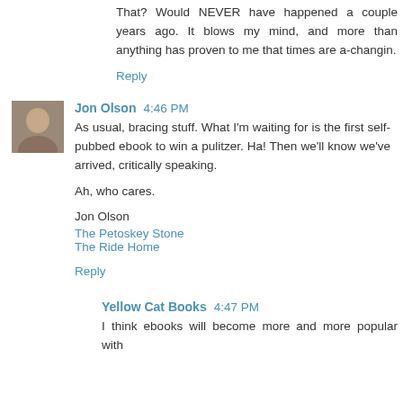That? Would NEVER have happened a couple years ago. It blows my mind, and more than anything has proven to me that times are a-changin.
Reply
Jon Olson  4:46 PM
As usual, bracing stuff. What I'm waiting for is the first self-pubbed ebook to win a pulitzer. Ha! Then we'll know we've arrived, critically speaking.
Ah, who cares.
Jon Olson
The Petoskey Stone
The Ride Home
Reply
Yellow Cat Books  4:47 PM
I think ebooks will become more and more popular with